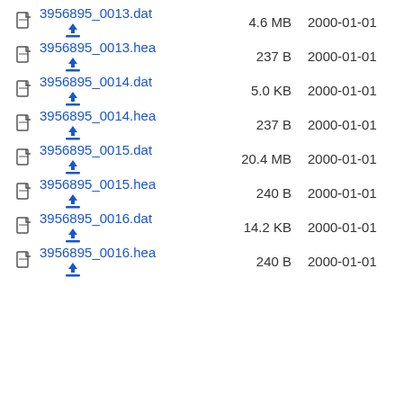3956895_0013.dat	4.6 MB	2000-01-01
3956895_0013.hea	237 B	2000-01-01
3956895_0014.dat	5.0 KB	2000-01-01
3956895_0014.hea	237 B	2000-01-01
3956895_0015.dat	20.4 MB	2000-01-01
3956895_0015.hea	240 B	2000-01-01
3956895_0016.dat	14.2 KB	2000-01-01
3956895_0016.hea	240 B	2000-01-01